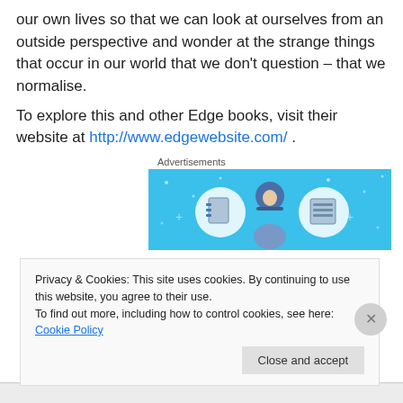our own lives so that we can look at ourselves from an outside perspective and wonder at the strange things that occur in our world that we don't question – that we normalise.
To explore this and other Edge books, visit their website at http://www.edgewebsite.com/ .
[Figure (illustration): Advertisement banner with blue background showing a cartoon figure of a person wearing a hard hat, flanked by two circular icons with document/notebook imagery]
Privacy & Cookies: This site uses cookies. By continuing to use this website, you agree to their use.
To find out more, including how to control cookies, see here: Cookie Policy